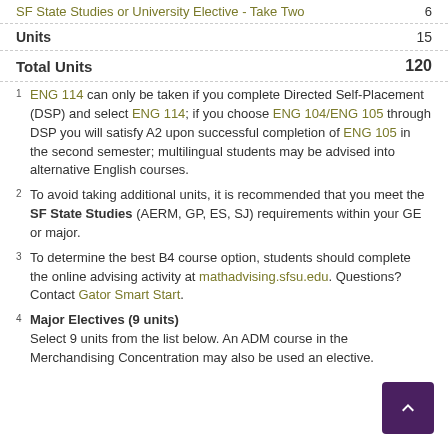SF State Studies or University Elective - Take Two   6
| Units | 15 |
| Total Units | 120 |
1  ENG 114 can only be taken if you complete Directed Self-Placement (DSP) and select ENG 114; if you choose ENG 104/ENG 105 through DSP you will satisfy A2 upon successful completion of ENG 105 in the second semester; multilingual students may be advised into alternative English courses.
2  To avoid taking additional units, it is recommended that you meet the SF State Studies (AERM, GP, ES, SJ) requirements within your GE or major.
3  To determine the best B4 course option, students should complete the online advising activity at mathadvising.sfsu.edu. Questions? Contact Gator Smart Start.
4  Major Electives (9 units) Select 9 units from the list below. An ADM course in the Merchandising Concentration may also be used an elective.